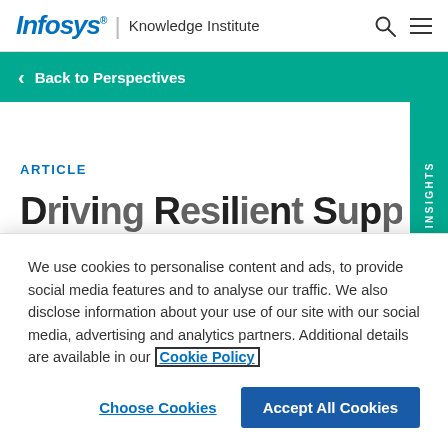Infosys® | Knowledge Institute
Back to Perspectives
ARTICLE
We use cookies to personalise content and ads, to provide social media features and to analyse our traffic. We also disclose information about your use of our site with our social media, advertising and analytics partners. Additional details are available in our Cookie Policy
Choose Cookies  Accept All Cookies